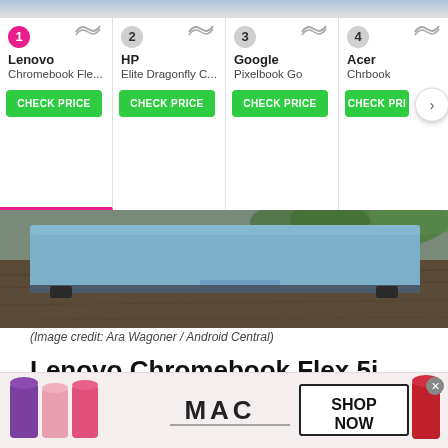[Figure (screenshot): Product comparison bar showing 4 laptop products: 1. Lenovo Chromebook Fle..., 2. HP Elite Dragonfly C..., 3. Google Pixelbook Go, 4. Acer Chromebook. Each with a green CHECK PRICE button. Product 1 (Lenovo) is selected with a pink underline.]
[Figure (photo): Photo of a blue laptop (Lenovo Chromebook Flex 5i) from behind/above on a wooden surface with green plants visible in background.]
(Image credit: Ara Wagoner / Android Central)
Lenovo Chromebook Flex 5i
★★★★☆
Best Overall
[Figure (photo): Advertisement banner for MAC cosmetics showing lipsticks and SHOP NOW button.]